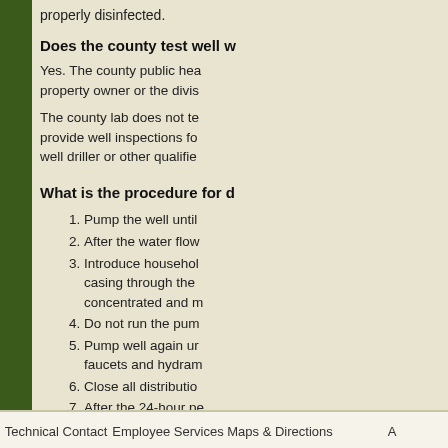properly disinfected.
Does the county test well w
Yes. The county public hea property owner or the divis
The county lab does not te provide well inspections fo well driller or other qualifie
What is the procedure for d
Pump the well until
After the water flow
Introduce househol casing through the concentrated and m
Do not run the pum
Pump well again ur faucets and hydram
Close all distributio
After the 24-hour pe chlorine odor is gor diminished. Test the
Technical Contact   Employee Services   Maps & Directions   A